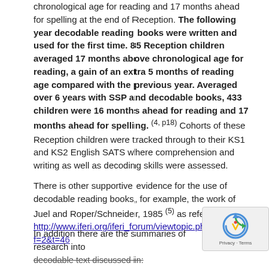chronological age for reading and 17 months ahead for spelling at the end of Reception. The following year decodable reading books were written and used for the first time. 85 Reception children averaged 17 months above chronological age for reading, a gain of an extra 5 months of reading age compared with the previous year. Averaged over 6 years with SSP and decodable books, 433 children were 16 months ahead for reading and 17 months ahead for spelling. (4, p18) Cohorts of these Reception children were tracked through to their KS1 and KS2 English SATS where comprehension and writing as well as decoding skills were assessed.
There is other supportive evidence for the use of decodable reading books, for example, the work of Juel and Roper/Schneider, 1985 (5) as referenced in: http://www.iferi.org/iferi_forum/viewtopic.php?f=2&t=46
In addition there are the summaries of research into decodable text discussed in: